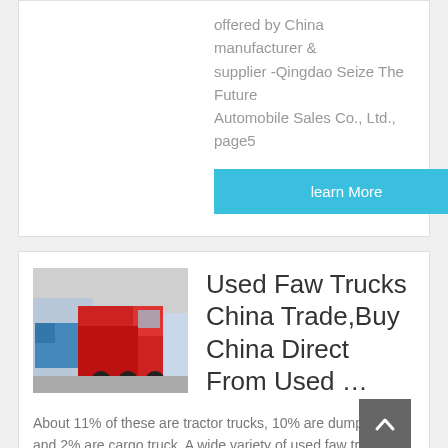offered by China manufacturer & supplier -Qingdao Seize The Future Automobile Sales Co., Ltd., page5
learn More
[Figure (photo): Red FAW tractor truck parked in a lot with blue trucks and buildings in background]
Used Faw Trucks China Trade,Buy China Direct From Used …
About 11% of these are tractor trucks, 10% are dump trucks, and 2% are cargo truck. A wide variety of used faw trucks options are available to you. There are 5,433 used faw trucks